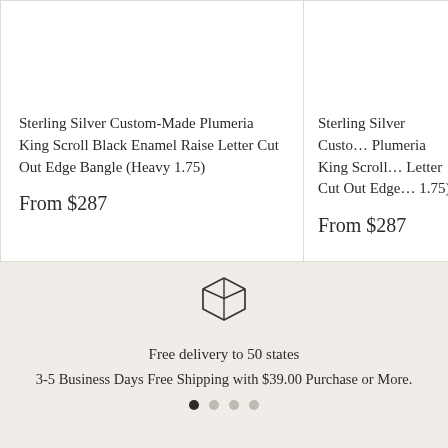Sterling Silver Custom-Made Plumeria King Scroll Black Enamel Raise Letter Cut Out Edge Bangle (Heavy 1.75)
From $287
Sterling Silver Custom-Made Plumeria King Scroll... Letter Cut Out Edge... 1.75)
From $287
[Figure (illustration): Package/box delivery icon outline]
Free delivery to 50 states
3-5 Business Days Free Shipping with $39.00 Purchase or More.